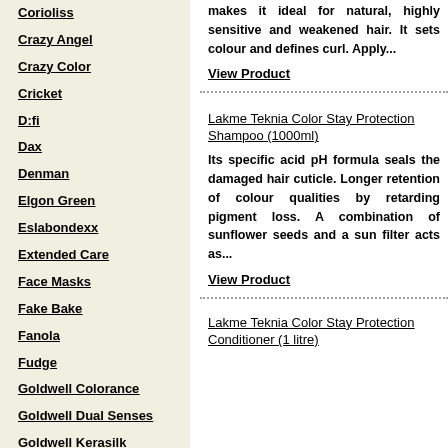Corioliss
Crazy Angel
Crazy Color
Cricket
D:fi
Dax
Denman
Elgon Green
Eslabondexx
Extended Care
Face Masks
Fake Bake
Fanola
Fudge
Goldwell Colorance
Goldwell Dual Senses
Goldwell Kerasilk
Goldwell Style Sign
Hair Tools
Hair Tools Electricals
Head Jog
Hey Joe
Hive
makes it ideal for natural, highly sensitive and weakened hair. It sets colour and defines curl. Apply...
View Product
Lakme Teknia Color Stay Protection Shampoo (1000ml)
Its specific acid pH formula seals the damaged hair cuticle. Longer retention of colour qualities by retarding pigment loss. A combination of sunflower seeds and a sun filter acts as...
View Product
Lakme Teknia Color Stay Protection
Conditioner (1 litre)